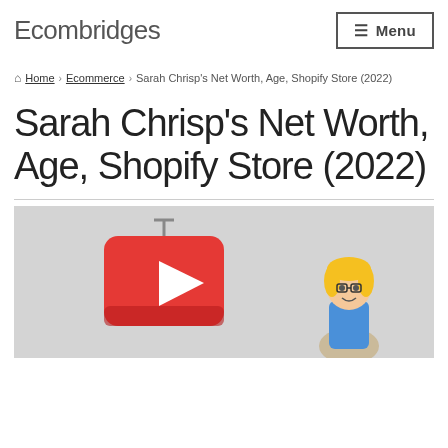Ecombridges
Menu
Home › Ecommerce › Sarah Chrisp's Net Worth, Age, Shopify Store (2022)
Sarah Chrisp's Net Worth, Age, Shopify Store (2022)
[Figure (illustration): Featured image with a light grey background showing a 3D YouTube play button icon on the left and a cartoon blonde female character on the right.]